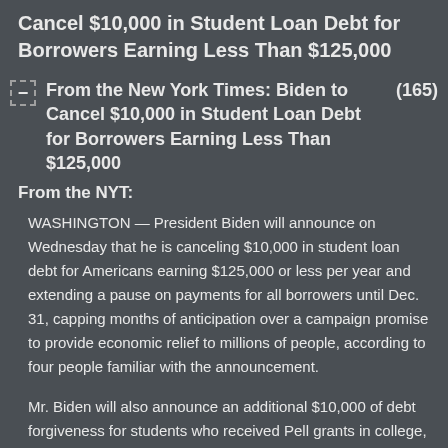Cancel $10,000 in Student Loan Debt for Borrowers Earning Less Than $125,000
From the New York Times: Biden to Cancel $10,000 in Student Loan Debt for Borrowers Earning Less Than $125,000 (165)
From the NYT:
WASHINGTON — President Biden will announce on Wednesday that he is canceling $10,000 in student loan debt for Americans earning $125,000 or less per year and extending a pause on payments for all borrowers until Dec. 31, capping months of anticipation over a campaign promise to provide economic relief to millions of people, according to four people familiar with the announcement.
Mr. Biden will also announce an additional $10,000 of debt forgiveness for students who received Pell grants in college, focusing the additional aid on people from lower-income